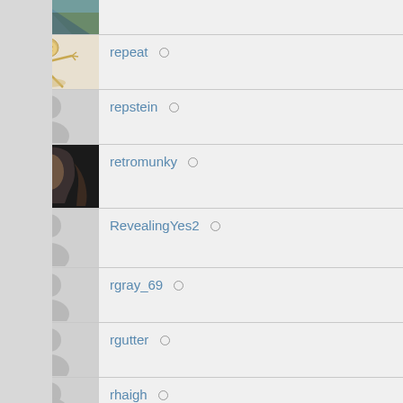repeat
repstein
retromunky
RevealingYes2
rgray_69
rgutter
rhaigh